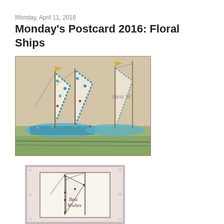Monday, April 11, 2016
Monday's Postcard 2016: Floral Ships
[Figure (photo): A vintage postcard showing two sailing ships decorated with blue floral patterns, with text 'Best W' partially visible on the right, set against a beige/tan background with green water below.]
[Figure (photo): A vintage postcard showing a sailing ship with masts and rigging, with text 'Best Wishes' partially visible, set against a pink/cream lace-bordered background.]